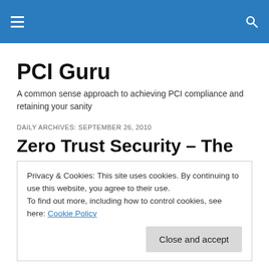PCI Guru navigation bar with hamburger menu and search icon
PCI Guru
A common sense approach to achieving PCI compliance and retaining your sanity
DAILY ARCHIVES: SEPTEMBER 26, 2010
Zero Trust Security – The
Privacy & Cookies: This site uses cookies. By continuing to use this website, you agree to their use.
To find out more, including how to control cookies, see here: Cookie Policy
Zero Trust can be implemented.